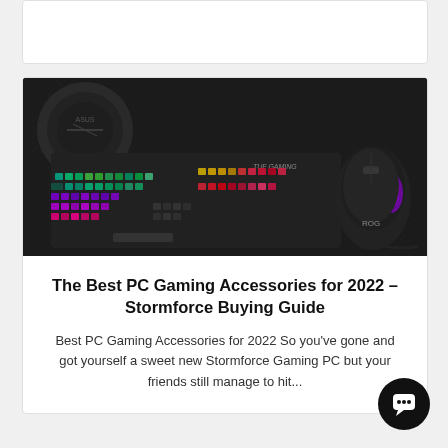[Figure (other): Partially visible white card with border at top of page]
[Figure (photo): Dark gaming peripherals photo showing ASUS TUF Gaming mechanical keyboard with RGB lighting, ROG gaming mouse with purple RGB, and circular ASUS device on dark textured surface]
The Best PC Gaming Accessories for 2022 – Stormforce Buying Guide
Best PC Gaming Accessories for 2022 So you've gone and got yourself a sweet new Stormforce Gaming PC but your friends still manage to hit...